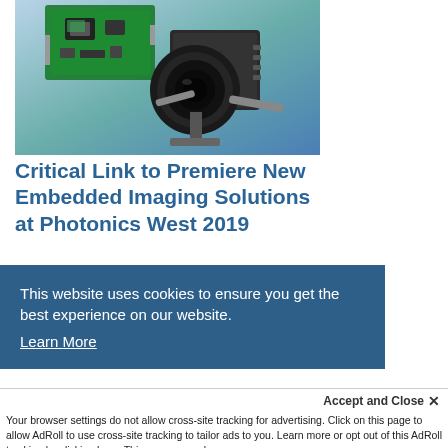[Figure (photo): Photo of an embedded imaging camera system with circuit board and lens mounted on a tripod-like stand, with blue-green gradient background.]
Critical Link to Premiere New Embedded Imaging Solutions at Photonics West 2019
This website uses cookies to ensure you get the best experience on our website. Learn More
Accept and Close ✕
Your browser settings do not allow cross-site tracking for advertising. Click on this page to allow AdRoll to use cross-site tracking to tailor ads to you. Learn more or opt out of this AdRoll tracking by clicking here. This message only appears once.